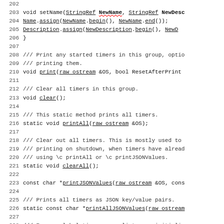202
203   void setName(StringRef NewName, StringRef NewDesc
204     Name.assign(NewName.begin(), NewName.end());
205     Description.assign(NewDescription.begin(), NewD
206   }
207
208   /// Print any started timers in this group, optio
209   /// printing them.
210   void print(raw ostream &OS, bool ResetAfterPrint
211
212   /// Clear all timers in this group.
213   void clear();
214
215   /// This static method prints all timers.
216   static void printAll(raw ostream &OS);
217
218   /// Clear out all timers. This is mostly used to
219   /// printing on shutdown, when timers have alread
220   /// using \c printAll or \c printJSONValues.
221   static void clearAll();
222
223   const char *printJSONValues(raw ostream &OS, cons
224
225   /// Prints all timers as JSON key/value pairs.
226   static const char *printAllJSONValues(raw ostream
227
228   /// Ensure global timer group lists are initializa
229   /// used by the Statistic code to influence the o
230   /// order of the global timer lists.
231   static void ConstructTimerLists();